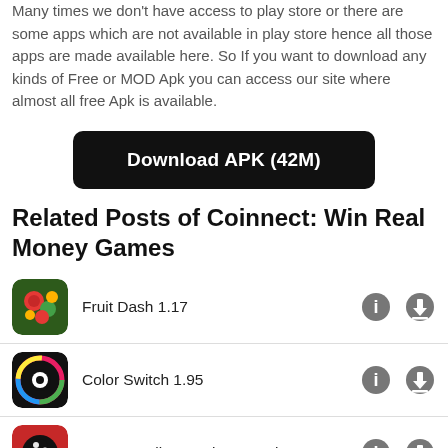Many times we don't have access to play store or there are some apps which are not available in play store hence all those apps are made available here. So If you want to download any kinds of Free or MOD Apk you can access our site where almost all free Apk is available.
Download APK (42M)
Related Posts of Coinnect: Win Real Money Games
Fruit Dash 1.17
Color Switch 1.95
nugs.net - live music streaming 3.2.1
Lose Belly Fat in 30 Days - Flat Stomach Challenge